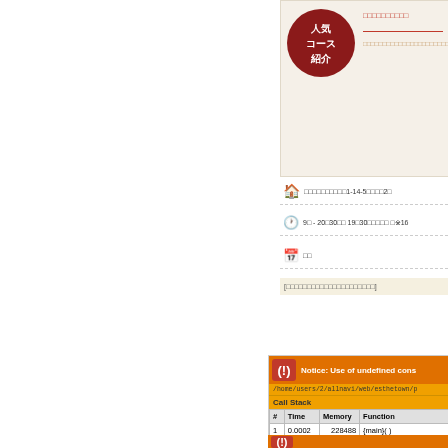[Figure (screenshot): Top card with red circular badge showing Japanese text 人気コース紹介, red Japanese text and description on beige background]
□□□□□□□□□□
□□□□□□□□□□□□□□□□□□□□□□□□□□
□□□□□□□□□□1-14-5□□□□2□
9□ - 20□30□□ 19□30□□□□□ □※16
□□
[□□□□□□□□□□□□□□□□□□□□□]
[Figure (screenshot): PHP error notice box with orange background, red exclamation badge, path and Call Stack table showing two rows of stack trace data]
Notice: Use of undefined cons
/home/users/2/allnavi/web/esthetown/p
Call Stack
| # | Time | Memory | Function |
| --- | --- | --- | --- |
| 1 | 0.0002 | 228488 | {main}( ) |
| 2 | 0.0074 | 261320 | include(
'/home/users/2/allna
) |